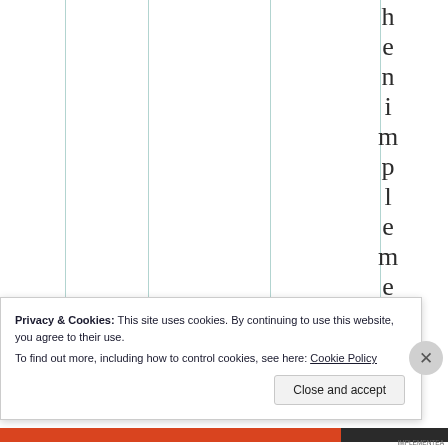[Figure (other): Partial view of a table with vertical column lines and vertically stacked letters spelling 'henimplemen' (part of 'implementation') in the rightmost column, displayed one letter per row.]
Privacy & Cookies: This site uses cookies. By continuing to use this website, you agree to their use.
To find out more, including how to control cookies, see here: Cookie Policy
Close and accept